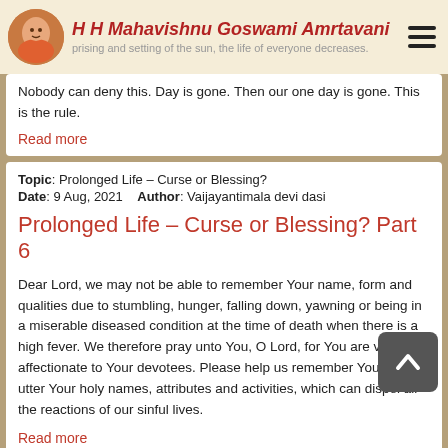H H Mahavishnu Goswami Amrtavani
Nobody can deny this. Day is gone. Then our one day is gone. This is the rule.
Read more
Topic: Prolonged Life – Curse or Blessing?
Date: 9 Aug, 2021   Author: Vaijayantimala devi dasi
Prolonged Life – Curse or Blessing? Part 6
Dear Lord, we may not be able to remember Your name, form and qualities due to stumbling, hunger, falling down, yawning or being in a miserable diseased condition at the time of death when there is a high fever. We therefore pray unto You, O Lord, for You are very affectionate to Your devotees. Please help us remember You and utter Your holy names, attributes and activities, which can dispel all the reactions of our sinful lives.
Read more
Topic: Prolonged Life – Curse or Blessing?